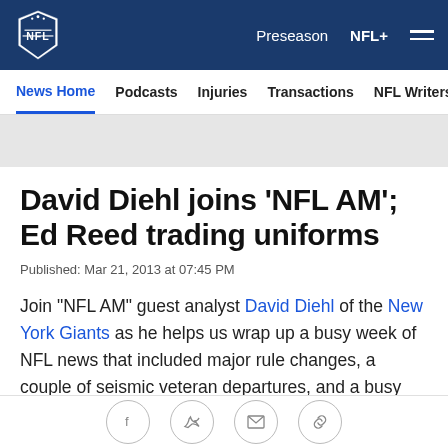NFL | Preseason | NFL+
News Home | Podcasts | Injuries | Transactions | NFL Writers | Se
David Diehl joins 'NFL AM'; Ed Reed trading uniforms
Published: Mar 21, 2013 at 07:45 PM
Join "NFL AM" guest analyst David Diehl of the New York Giants as he helps us wrap up a busy week of NFL news that included major rule changes, a couple of seismic veteran departures, and a busy week of draft evaluation at pro days nationwide. Get a head start on